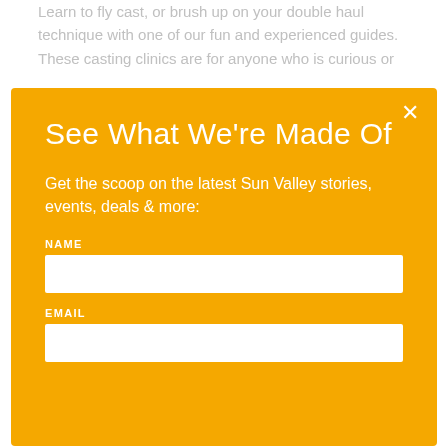Learn to fly cast, or brush up on your double haul technique with one of our fun and experienced guides. These casting clinics are for anyone who is curious or
See What We're Made Of
Get the scoop on the latest Sun Valley stories, events, deals & more:
NAME
EMAIL